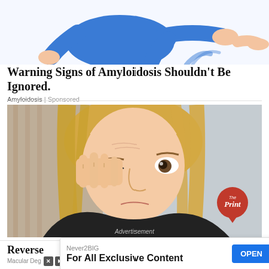[Figure (illustration): Partial illustration showing a human figure in blue clothing, lying or floating, with feet visible – top portion of a medical/health advertisement illustration]
Warning Signs of Amyloidosis Shouldn't Be Ignored.
Amyloidosis | Sponsored
[Figure (photo): A blonde woman in a black top rubbing/touching her eye with her fingers, looking distressed. A circular 'The Print' logo badge is overlaid in the bottom-right corner. 'Advertisement' text appears at the bottom of the image.]
Reverse
Macular Deg
Never2BIG
For All Exclusive Content
OPEN